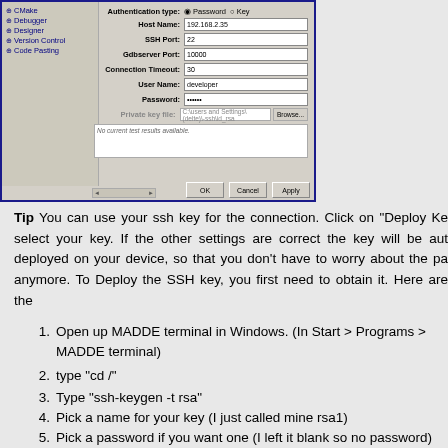[Figure (screenshot): Qt Creator remote device configuration dialog showing SSH connection settings: Authentication type (Password/Key), Host Name (192.168.2.35), SSH Port (22), Gdbserver Port (10000), Connection Timeout (30), User Name (developer), Password (dots), Private key file, and a text area saying 'No current test results available'. Buttons: OK, Cancel, Apply.]
Tip You can use your ssh key for the connection. Click on "Deploy Key" select your key. If the other settings are correct the key will be auto deployed on your device, so that you don't have to worry about the password anymore. To Deploy the SSH key, you first need to obtain it. Here are the steps:
Open up MADDE terminal in Windows. (In Start > Programs > MADDE terminal)
type "cd /"
Type "ssh-keygen -t rsa"
Pick a name for your key (I just called mine rsa1)
Pick a password if you want one (I left it blank so no password)
In Qt click "deploy key" and browse to where the key is (MADDE\MADDE_VERSION\home\<username>\.ssh)